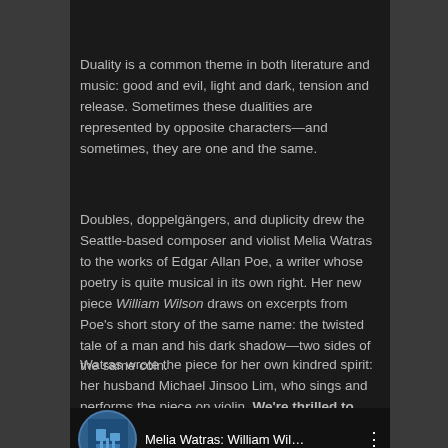Duality is a common theme in both literature and music: good and evil, light and dark, tension and release. Sometimes these dualities are represented by opposite characters—and sometimes, they are one and the same.
Doubles, doppelgängers, and duplicity drew the Seattle-based composer and violist Melia Watras to the works of Edgar Allan Poe, a writer whose poetry is quite musical in its own right. Her new piece William Wilson draws on excerpts from Poe's short story of the same name: the twisted tale of a man and his dark shadow—two sides of the same coin.
Watras wrote the piece for her own kindred spirit: her husband Michael Jinsoo Lim, who sings and performs the piece on violin. We're thrilled to premiere the music video for William Wilson, which appears on Watras's brand new album of compositions Firefly Songs.
[Figure (screenshot): Video thumbnail showing 'Melia Watras: William Wil...' with a circular logo icon on the left and three-dot menu on the right, on a dark background.]